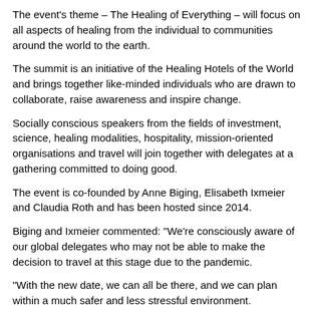The event's theme – The Healing of Everything – will focus on all aspects of healing from the individual to communities around the world to the earth.
The summit is an initiative of the Healing Hotels of the World and brings together like-minded individuals who are drawn to collaborate, raise awareness and inspire change.
Socially conscious speakers from the fields of investment, science, healing modalities, hospitality, mission-oriented organisations and travel will join together with delegates at a gathering committed to doing good.
The event is co-founded by Anne Biging, Elisabeth Ixmeier and Claudia Roth and has been hosted since 2014.
Biging and Ixmeier commented: “We’re consciously aware of our global delegates who may not be able to make the decision to travel at this stage due to the pandemic.
“With the new date, we can all be there, and we can plan within a much safer and less stressful environment.
“The Healing Summit 2022 will be like no other. The format will be refreshed, renewed and open for all to actively participate.”
Registration will launch on 1 February with an early bird rate of €1,680 (US$1,915, £1,435) per person until 15 February. From that point on, tickets will cost €2,100 (€2,394, £1,796) each.
Close Window